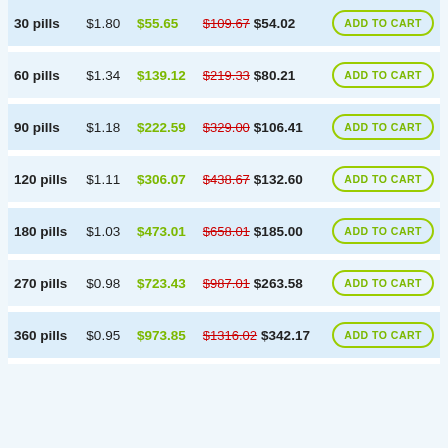| Qty | Per Pill | Savings | Price |  |
| --- | --- | --- | --- | --- |
| 30 pills | $1.80 | $55.65 | $109.67 $54.02 | ADD TO CART |
| 60 pills | $1.34 | $139.12 | $219.33 $80.21 | ADD TO CART |
| 90 pills | $1.18 | $222.59 | $329.00 $106.41 | ADD TO CART |
| 120 pills | $1.11 | $306.07 | $438.67 $132.60 | ADD TO CART |
| 180 pills | $1.03 | $473.01 | $658.01 $185.00 | ADD TO CART |
| 270 pills | $0.98 | $723.43 | $987.01 $263.58 | ADD TO CART |
| 360 pills | $0.95 | $973.85 | $1316.02 $342.17 | ADD TO CART |